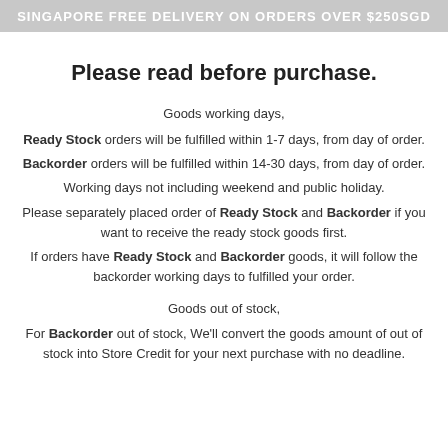SINGAPORE FREE DELIVERY ON ORDERS OVER $250SGD
Please read before purchase.
Goods working days,
Ready Stock orders will be fulfilled within 1-7 days, from day of order.
Backorder orders will be fulfilled within 14-30 days, from day of order.
Working days not including weekend and public holiday.
Please separately placed order of Ready Stock and Backorder if you want to receive the ready stock goods first.
If orders have Ready Stock and Backorder goods, it will follow the backorder working days to fulfilled your order.
Goods out of stock,
For Backorder out of stock, We'll convert the goods amount of out of stock into Store Credit for your next purchase with no deadline.